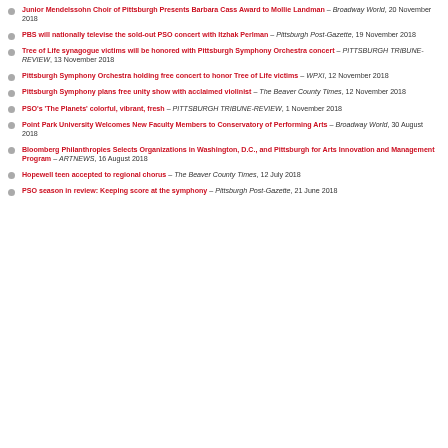Junior Mendelssohn Choir of Pittsburgh Presents Barbara Cass Award to Mollie Landman – Broadway World, 20 November 2018
PBS will nationally televise the sold-out PSO concert with Itzhak Perlman – Pittsburgh Post-Gazette, 19 November 2018
Tree of Life synagogue victims will be honored with Pittsburgh Symphony Orchestra concert – PITTSBURGH TRIBUNE-REVIEW, 13 November 2018
Pittsburgh Symphony Orchestra holding free concert to honor Tree of Life victims – WPXI, 12 November 2018
Pittsburgh Symphony plans free unity show with acclaimed violinist – The Beaver County Times, 12 November 2018
PSO's 'The Planets' colorful, vibrant, fresh – PITTSBURGH TRIBUNE-REVIEW, 1 November 2018
Point Park University Welcomes New Faculty Members to Conservatory of Performing Arts – Broadway World, 30 August 2018
Bloomberg Philanthropies Selects Organizations in Washington, D.C., and Pittsburgh for Arts Innovation and Management Program – ARTNEWS, 16 August 2018
Hopewell teen accepted to regional chorus – The Beaver County Times, 12 July 2018
PSO season in review: Keeping score at the symphony – Pittsburgh Post-Gazette, 21 June 2018